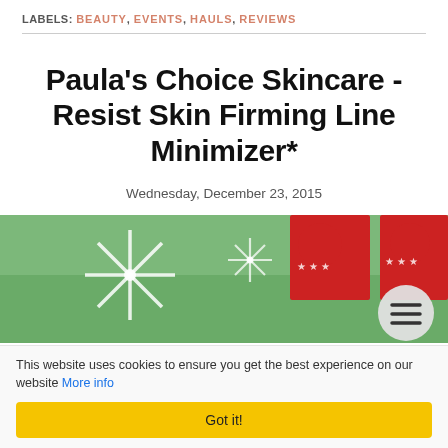LABELS: BEAUTY, EVENTS, HAULS, REVIEWS
Paula's Choice Skincare - Resist Skin Firming Line Minimizer*
Wednesday, December 23, 2015
[Figure (photo): Photo of a skincare product (Paula's Choice Resist Skin Firming Line Minimizer) on a Christmas-themed background with snowflake decorations and Santa hat decorations in green and red]
This website uses cookies to ensure you get the best experience on our website More info
Got it!